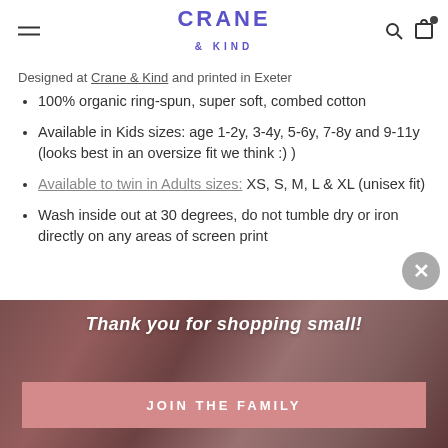CRANE & KIND
Designed at Crane & Kind and printed in Exeter
100% organic ring-spun, super soft, combed cotton
Available in Kids sizes: age 1-2y, 3-4y, 5-6y, 7-8y and 9-11y (looks best in an oversize fit we think :) )
Available to twin in Adults sizes: XS, S, M, L & XL (unisex fit)
Wash inside out at 30 degrees, do not tumble dry or iron directly on any areas of screen print
Thank you for shopping small!
JOIN THE FAMILY